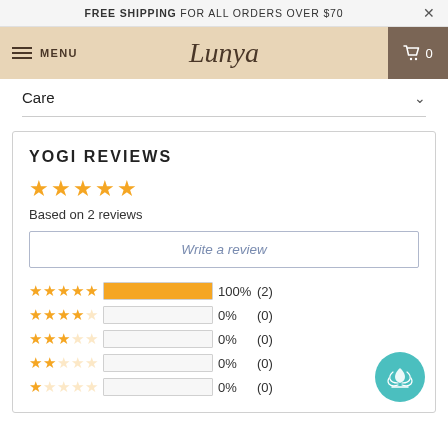FREE SHIPPING FOR ALL ORDERS OVER $70
MENU  Lunya  0
Care
YOGI REVIEWS
Based on 2 reviews
Write a review
| Stars | Bar | Percent | Count |
| --- | --- | --- | --- |
| 5 stars | 100% | 100% | (2) |
| 4 stars | 0% | 0% | (0) |
| 3 stars | 0% | 0% | (0) |
| 2 stars | 0% | 0% | (0) |
| 1 star | 0% | 0% | (0) |